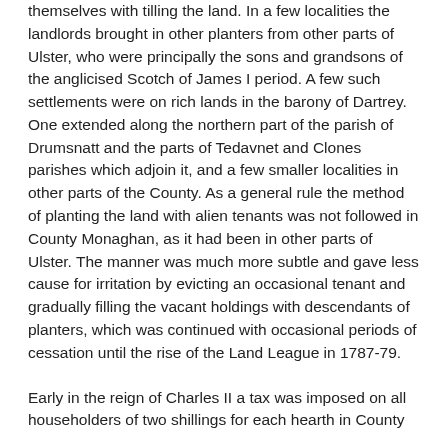themselves with tilling the land. In a few localities the landlords brought in other planters from other parts of Ulster, who were principally the sons and grandsons of the anglicised Scotch of James I period. A few such settlements were on rich lands in the barony of Dartrey. One extended along the northern part of the parish of Drumsnatt and the parts of Tedavnet and Clones parishes which adjoin it, and a few smaller localities in other parts of the County. As a general rule the method of planting the land with alien tenants was not followed in County Monaghan, as it had been in other parts of Ulster. The manner was much more subtle and gave less cause for irritation by evicting an occasional tenant and gradually filling the vacant holdings with descendants of planters, which was continued with occasional periods of cessation until the rise of the Land League in 1787-79.
Early in the reign of Charles II a tax was imposed on all householders of two shillings for each hearth in County